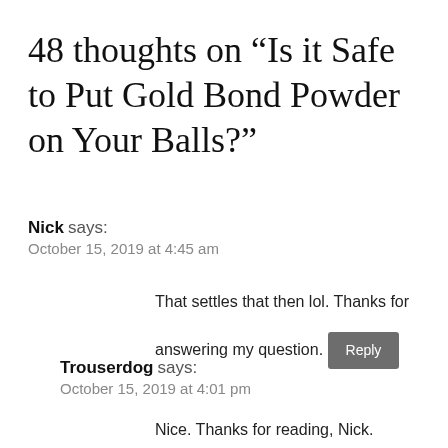48 thoughts on “Is it Safe to Put Gold Bond Powder on Your Balls?”
Nick says:
October 15, 2019 at 4:45 am
That settles that then lol. Thanks for answering my question.
Reply
Trouserdog says:
October 15, 2019 at 4:01 pm
Nice. Thanks for reading, Nick.